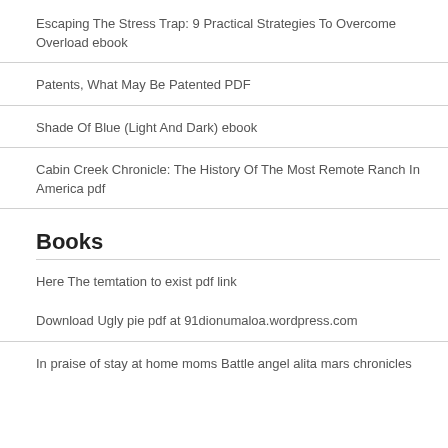Escaping The Stress Trap: 9 Practical Strategies To Overcome Overload ebook
Patents, What May Be Patented PDF
Shade Of Blue (Light And Dark) ebook
Cabin Creek Chronicle: The History Of The Most Remote Ranch In America pdf
Books
Here The temtation to exist pdf link
Download Ugly pie pdf at 91dionumaloa.wordpress.com
In praise of stay at home moms Battle angel alita mars chronicles